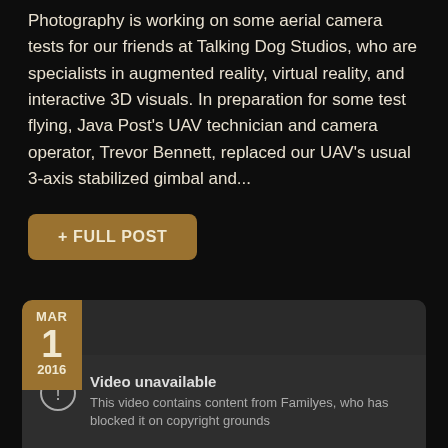Photography is working on some aerial camera tests for our friends at Talking Dog Studios, who are specialists in augmented reality, virtual reality, and interactive 3D visuals. In preparation for some test flying, Java Post's UAV technician and camera operator, Trevor Bennett, replaced our UAV's usual 3-axis stabilized gimbal and...
+ FULL POST
[Figure (screenshot): A video embed placeholder showing a date badge (MAR 1 2016) and a 'Video unavailable' message: 'This video contains content from Familyes, who has blocked it on copyright grounds']